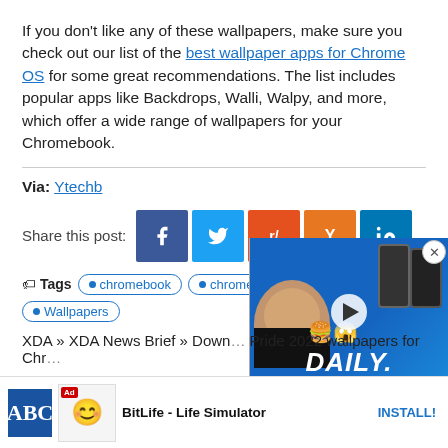If you don't like any of these wallpapers, make sure you check out our list of the best wallpaper apps for Chrome OS for some great recommendations. The list includes popular apps like Backdrops, Walli, Walpy, and more, which offer a wide range of wallpapers for your Chromebook.
Via: Ytechb
Share this post:
Tags  chromebook  chromebook  wallpaper  Wallpapers
XDA » XDA News Brief » Download Pride 2022 wallpapers for Chr…
[Figure (screenshot): Video overlay showing a man with phones and DAILY. text on blue background]
[Figure (screenshot): Ad bar: BitLife - Life Simulator with ABC logo and emoji, Install button]